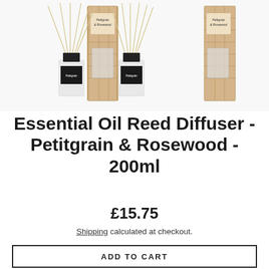[Figure (photo): Three sets of reed diffuser products showing glass bottles with reed sticks and kraft paper packaging boxes labeled Petitgrain & Rosewood]
Essential Oil Reed Diffuser - Petitgrain & Rosewood - 200ml
£15.75
Shipping calculated at checkout.
ADD TO CART